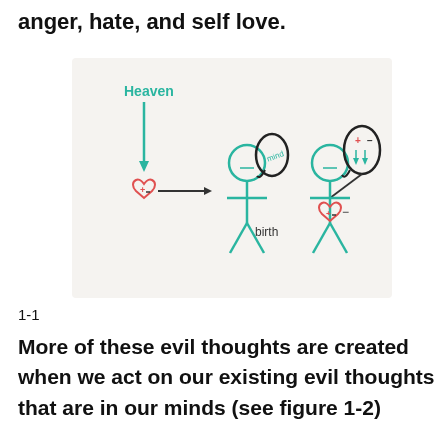anger, hate, and self love.
[Figure (illustration): Hand-drawn diagram showing Heaven with a downward arrow to a heart, then an arrow pointing to a stick figure at birth with a mind bubble, and another stick figure with a mind containing plus/minus signs and a heart with plus/minus signs. Labels: Heaven, mind, birth.]
1-1
More of these evil thoughts are created when we act on our existing evil thoughts that are in our minds (see figure 1-2)